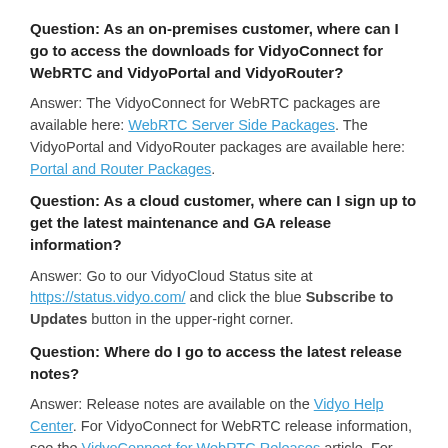Question: As an on-premises customer, where can I go to access the downloads for VidyoConnect for WebRTC and VidyoPortal and VidyoRouter?
Answer: The VidyoConnect for WebRTC packages are available here: WebRTC Server Side Packages. The VidyoPortal and VidyoRouter packages are available here: Portal and Router Packages.
Question: As a cloud customer, where can I sign up to get the latest maintenance and GA release information?
Answer: Go to our VidyoCloud Status site at https://status.vidyo.com/ and click the blue Subscribe to Updates button in the upper-right corner.
Question: Where do I go to access the latest release notes?
Answer: Release notes are available on the Vidyo Help Center. For VidyoConnect for WebRTC release information, see the VidyoConnect for WebRTC Releases article. For VidyoPortal and VidyoRouter release information, see the VidyoPortal and